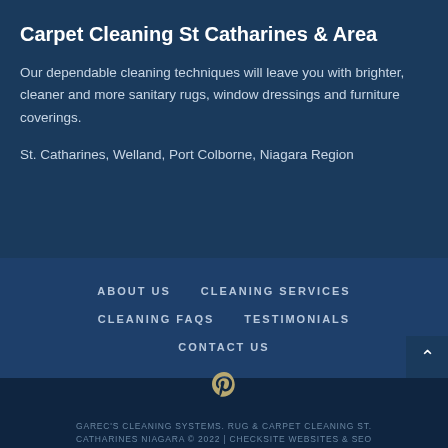Carpet Cleaning St Catharines & Area
Our dependable cleaning techniques will leave you with brighter, cleaner and more sanitary rugs, window dressings and furniture coverings.
St. Catharines, Welland, Port Colborne, Niagara Region
ABOUT US
CLEANING SERVICES
CLEANING FAQS
TESTIMONIALS
CONTACT US
GAREC'S CLEANING SYSTEMS. RUG & CARPET CLEANING ST. CATHARINES NIAGARA © 2022 | CHECKSITE WEBSITES & SEO